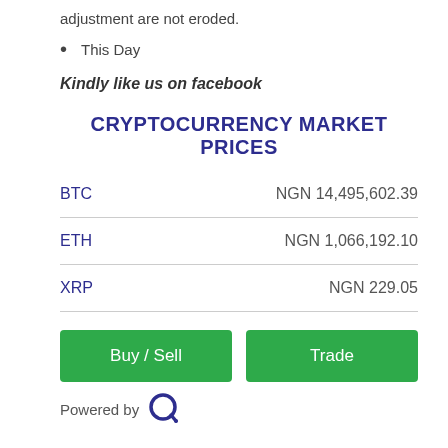adjustment are not eroded.
This Day
Kindly like us on  facebook
CRYPTOCURRENCY MARKET PRICES
| Coin | Price |
| --- | --- |
| BTC | NGN 14,495,602.39 |
| ETH | NGN 1,066,192.10 |
| XRP | NGN 229.05 |
Buy / Sell
Trade
Powered by Quidax